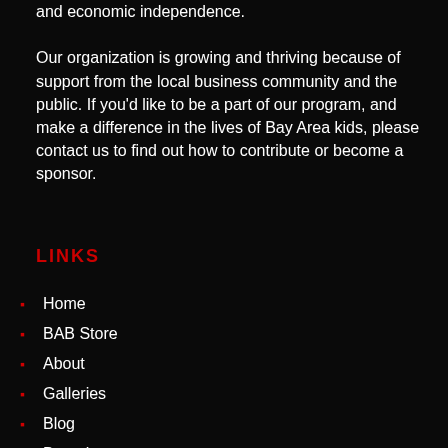and economic independence.
Our organization is growing and thriving because of support from the local business community and the public. If you'd like to be a part of our program, and make a difference in the lives of Bay Area kids, please contact us to find out how to contribute or become a sponsor.
LINKS
Home
BAB Store
About
Galleries
Blog
Donations